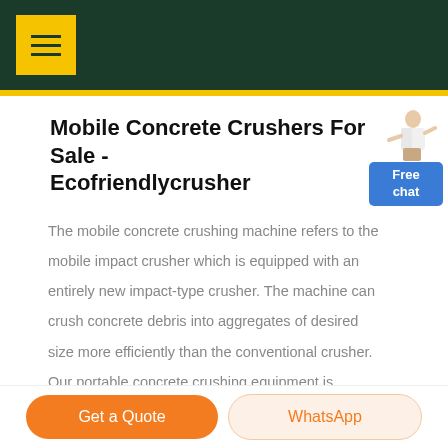Mobile Concrete Crushers For Sale - Ecofriendlycrusher (navigation header with menu icon)
Mobile Concrete Crushers For Sale - Ecofriendlycrusher
[Figure (illustration): Customer service representative figure with Free chat button in blue]
The mobile concrete crushing machine refers to the mobile impact crusher which is equipped with an entirely new impact-type crusher. The machine can crush concrete debris into aggregates of desired size more efficiently than the conventional crusher. Our portable concrete crushing equipment is reliability, productivity and fast assembly for economical crushing natural stone, asphalt, building rubble and .
Get a Quote | WhatsApp